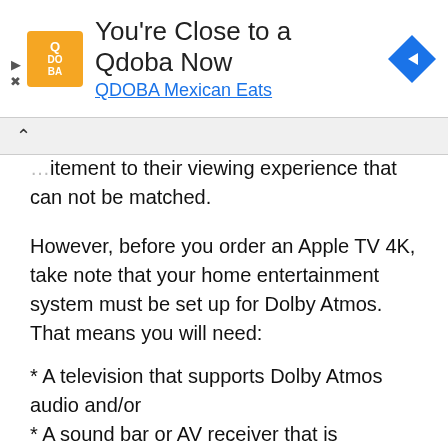[Figure (screenshot): Advertisement banner: Qdoba logo, text 'You're Close to a Qdoba Now', subtitle 'QDOBA Mexican Eats', navigation diamond icon on the right, play/close controls on left]
...excitement to their viewing experience that can not be matched.
However, before you order an Apple TV 4K, take note that your home entertainment system must be set up for Dolby Atmos. That means you will need:
* A television that supports Dolby Atmos audio and/or
* A sound bar or AV receiver that is compatible with Dolby Atmos.
If you have those, Apple says you still need to take two